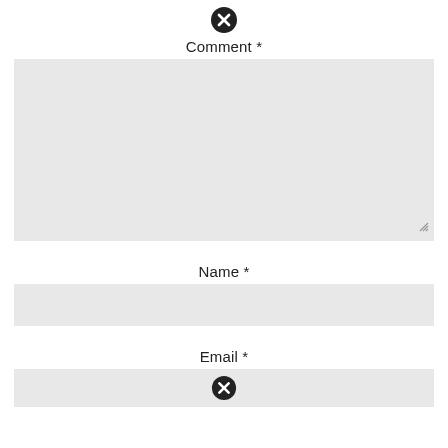[Figure (other): Close/cancel icon - black circle with white X]
Comment *
[Figure (other): Large textarea input field with light gray background and resize handle]
Name *
[Figure (other): Single-line text input field with light gray background]
Email *
[Figure (other): Single-line email input field with light gray background containing a close/cancel icon]